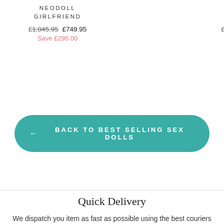NEODOLL GIRLFRIEND
£1,045.95  £749.95
Save £296.00
N... GI...
£1,045...
Sa...
← BACK TO BEST SELLING SEX DOLLS
Quick Delivery
We dispatch you item as fast as possible using the best couriers available. We discreetly send your items in packaging that no one can identify.